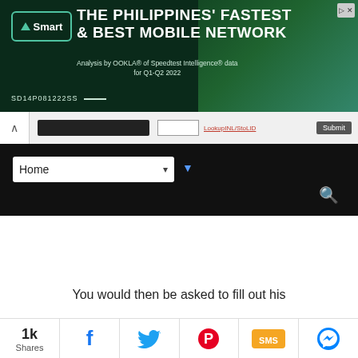[Figure (screenshot): Smart mobile network advertisement banner with dark green background. Shows 'Smart' logo in teal border, headline 'THE PHILIPPINES' FASTEST & BEST MOBILE NETWORK', subtext 'Analysis by OOKLA® of Speedtest Intelligence® data for Q1-Q2 2022', code 'SD14P081222SS', and two women in black on the right.]
[Figure (screenshot): Browser toolbar row with back arrow, redacted black bar, input field, red underlined link text 'LookupINL/StoLID', and Submit button.]
[Figure (screenshot): Navigation bar on black background with 'Home' dropdown select and a blue funnel filter icon. Search icon (magnifying glass) on right.]
You would then be asked to fill out his
[Figure (infographic): Social share bar showing '1k Shares' and icons for Facebook (blue f), Twitter (blue bird), Pinterest (red P), SMS (yellow SMS), and Messenger (blue lightning bolt).]